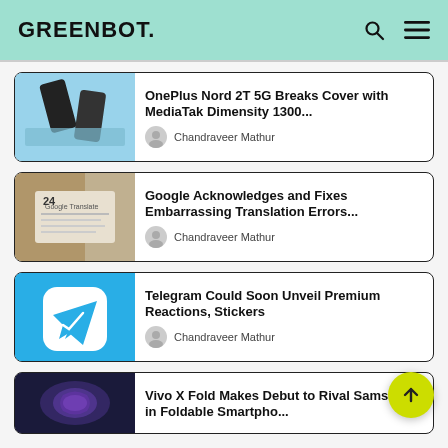GREENBOT.
OnePlus Nord 2T 5G Breaks Cover with MediaTek Dimensity 1300...
Chandraveer Mathur
Google Acknowledges and Fixes Embarrassing Translation Errors...
Chandraveer Mathur
Telegram Could Soon Unveil Premium Reactions, Stickers
Chandraveer Mathur
Vivo X Fold Makes Debut to Rival Samsung in Foldable Smartpho...